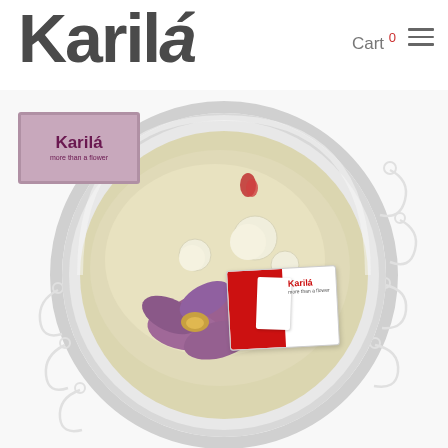Karilá
Cart 0
[Figure (screenshot): Website header for Karilá brand with logo, Cart navigation showing 0 items, and hamburger menu icon]
[Figure (photo): Top-down view of a white bowl containing cream/olive colored liquid with a purple orchid flower, white round confections or garlic cloves, and decorative Karilá branded cards/tags. Small Karilá logo stamp in upper left. Decorative swirl patterns around the bowl on white background.]